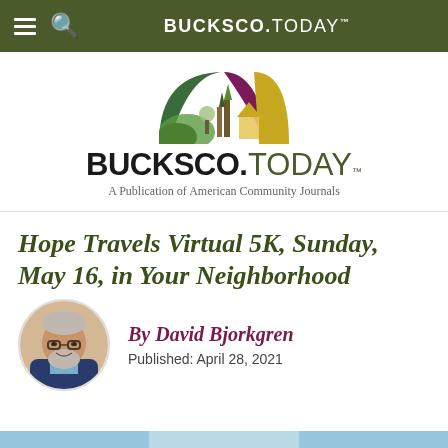BUCKSCO.TODAY
[Figure (logo): BucksCo.Today logo with semicircle landscape illustration and text 'BUCKSCO.TODAY - A Publication of American Community Journals']
Hope Travels Virtual 5K, Sunday, May 16, in Your Neighborhood
By David Bjorkgren
Published: April 28, 2021